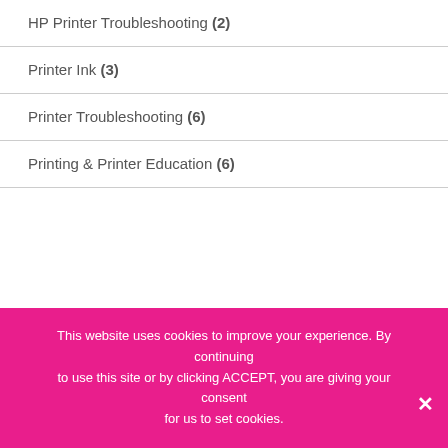HP Printer Troubleshooting (2)
Printer Ink (3)
Printer Troubleshooting (6)
Printing & Printer Education (6)
[Figure (logo): Ezoic logo with green circular icon and text 'ezoic', alongside 'report this ad' link]
© 2021 Printer Testing. All Rights Reserved   About | Privacy Policy | Contact
This website uses cookies to improve your experience. By continuing to use this site or by clicking ACCEPT, you are giving your consent for us to set cookies.